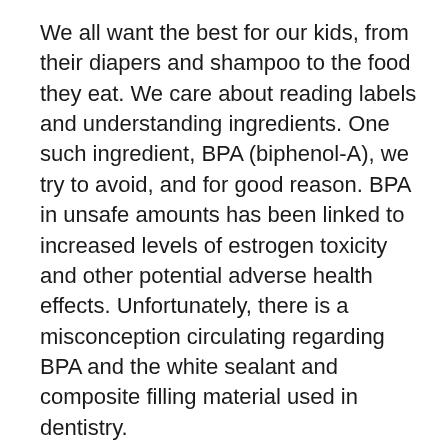We all want the best for our kids, from their diapers and shampoo to the food they eat. We care about reading labels and understanding ingredients. One such ingredient, BPA (biphenol-A), we try to avoid, and for good reason. BPA in unsafe amounts has been linked to increased levels of estrogen toxicity and other potential adverse health effects. Unfortunately, there is a misconception circulating regarding BPA and the white sealant and composite filling material used in dentistry.
Because the jaws of children are undergoing constant growth, choices for fillings and sealants are limited to a small list.